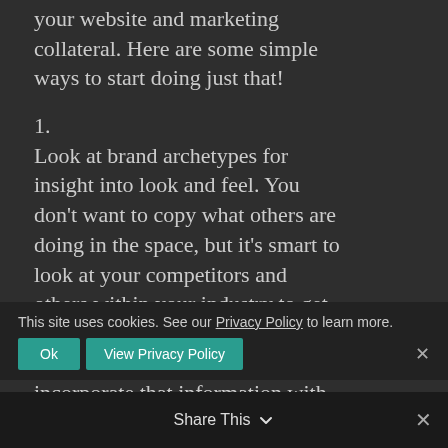your website and marketing collateral. Here are some simple ways to start doing just that!
1.
Look at brand archetypes for insight into look and feel. You don't want to copy what others are doing in the space, but it's smart to look at your competitors and others within your industry to get an idea of what your audience expects to see. Then you can incorporate that information with your own flair.
This site uses cookies. See our Privacy Policy to learn more.
Share This